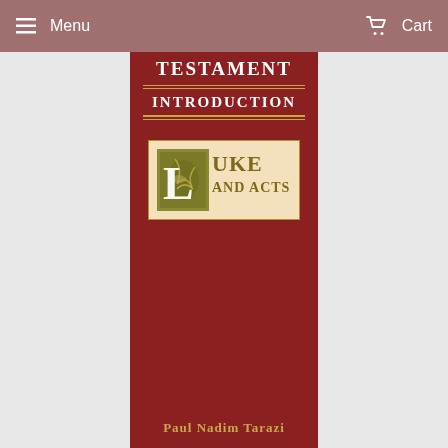Menu   Cart
[Figure (illustration): Book cover for 'New Testament Introduction: Luke and Acts' by Paul Nadim Tarazi. Dark red/maroon background with gold decorative lines, white text for 'TESTAMENT' and 'INTRODUCTION', and a cream-colored panel featuring an illuminated manuscript-style decorated 'L' initial alongside 'UKE AND ACTS' in gold/olive text. Author name 'Paul Nadim Tarazi' in gold at the bottom.]